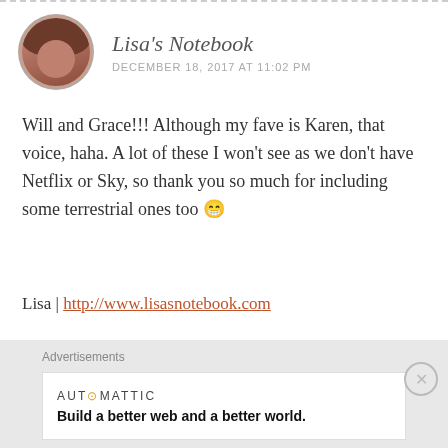Lisa's Notebook · DECEMBER 18, 2017 AT 11:02 PM
Will and Grace!!! Although my fave is Karen, that voice, haha. A lot of these I won't see as we don't have Netflix or Sky, so thank you so much for including some terrestrial ones too 😁
Lisa | http://www.lisasnotebook.com
★ Liked by 1 person
Reply
Advertisements
AUTOMATTIC · Build a better web and a better world.